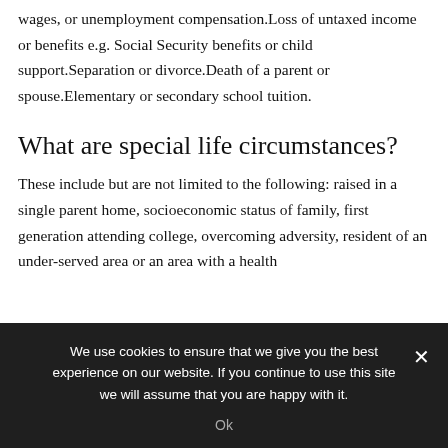wages, or unemployment compensation.Loss of untaxed income or benefits e.g. Social Security benefits or child support.Separation or divorce.Death of a parent or spouse.Elementary or secondary school tuition.
What are special life circumstances?
These include but are not limited to the following: raised in a single parent home, socioeconomic status of family, first generation attending college, overcoming adversity, resident of an under-served area or an area with a health
We use cookies to ensure that we give you the best experience on our website. If you continue to use this site we will assume that you are happy with it.